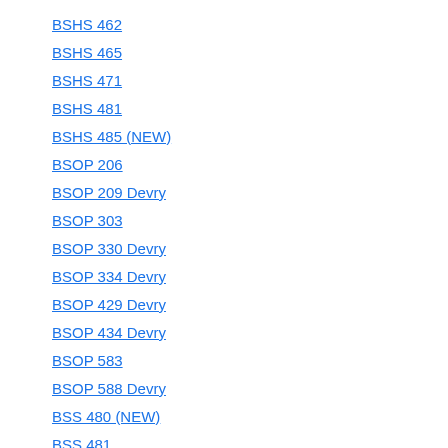BSHS 462
BSHS 465
BSHS 471
BSHS 481
BSHS 485 (NEW)
BSOP 206
BSOP 209 Devry
BSOP 303
BSOP 330 Devry
BSOP 334 Devry
BSOP 429 Devry
BSOP 434 Devry
BSOP 583
BSOP 588 Devry
BSS 480 (NEW)
BSS 481
BSS 482
BSS 483
BUS 100